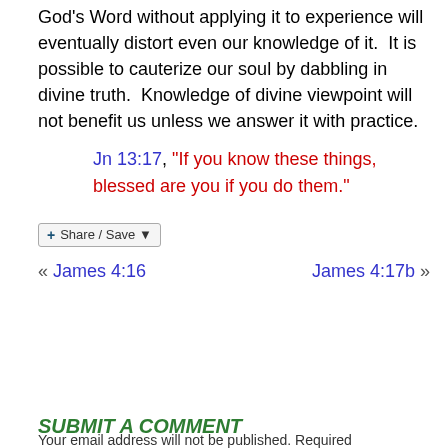God's Word without applying it to experience will eventually distort even our knowledge of it. It is possible to cauterize our soul by dabbling in divine truth. Knowledge of divine viewpoint will not benefit us unless we answer it with practice.
Jn 13:17, "If you know these things, blessed are you if you do them."
Share / Save
« James 4:16    James 4:17b »
SUBMIT A COMMENT
Your email address will not be published. Required